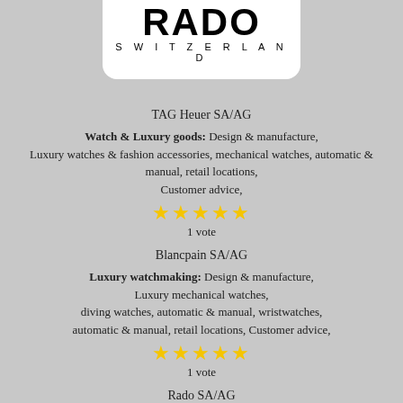[Figure (logo): RADO SWITZERLAND logo in black on white rounded-bottom box]
TAG Heuer SA/AG
Watch & Luxury goods: Design & manufacture, Luxury watches & fashion accessories, mechanical watches, automatic & manual, retail locations, Customer advice,
[Figure (other): 5 gold stars rating]
1 vote
Blancpain SA/AG
Luxury watchmaking: Design & manufacture, Luxury mechanical watches, diving watches, automatic & manual, wristwatches, automatic & manual, retail locations, Customer advice,
[Figure (other): 5 gold stars rating]
1 vote
Rado SA/AG
Watchmaking: Scratch & more Design & manufacture, distribute...